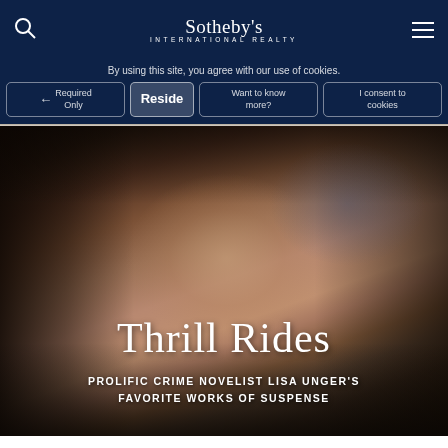Sotheby's International Realty
By using this site, you agree with our use of cookies.
Required Only | Want to know more? | I consent to cookies | Reside
[Figure (photo): Portrait photo of woman with long brown hair overlaid with hero text]
Thrill Rides
PROLIFIC CRIME NOVELIST LISA UNGER'S FAVORITE WORKS OF SUSPENSE